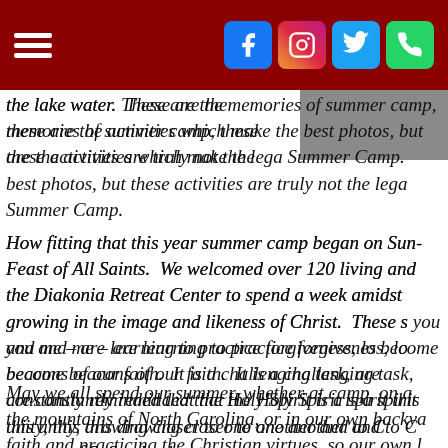[hamburger menu and social icons: Facebook, Instagram, Twitter, Phone]
[Figure (photo): Gray photograph partially visible in upper right corner]
the lake water.  These are the memories of summer camp, these are the activities which make the best photos, but these activities are truly not the legacy of Summer Camp.
How fitting that this year summer camp began on Sunday, the Feast of All Saints.  We welcomed over 120 living and ... the Diakonia Retreat Center to spend a week amidst ... growing in the image and likeness of Christ.  These s... you and me – are learning to practice forgiveness, lo... become beacons of our faith.  It is a challenging task, ... are constantly reminded that the Holy Spirit is a spirit ... this unity, this drawing closer to one another and to C... essence of St Stephen's.
May we all spend our summer, whether at camp, on a... the mountains of North Carolina, or in our own backya... faith and practicing the Christian virtues, so our own l... before men, that they may see your good works and ...